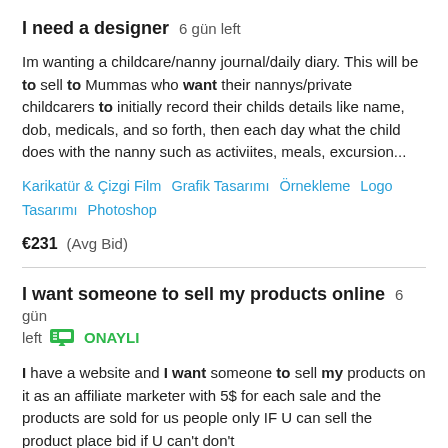I need a designer  6 gün left
Im wanting a childcare/nanny journal/daily diary. This will be to sell to Mummas who want their nannys/private childcarers to initially record their childs details like name, dob, medicals, and so forth, then each day what the child does with the nanny such as activiites, meals, excursion...
Karikatür & Çizgi Film   Grafik Tasarımı   Örnekleme   Logo Tasarımı   Photoshop
€231  (Avg Bid)
I want someone to sell my products online  6 gün left  ONAYLI
I have a website and I want someone to sell my products on it as an affiliate marketer with 5$ for each sale and the products are sold for us people only IF U can sell the product place bid if U can't don't